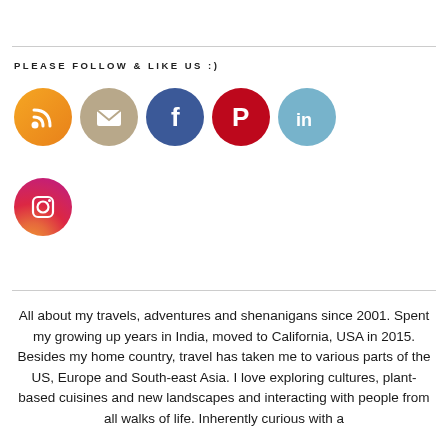PLEASE FOLLOW & LIKE US :)
[Figure (illustration): Row of social media icon circles: RSS (orange), Email (tan/beige), Facebook (blue), Pinterest (red), LinkedIn (light blue), and Instagram (gradient pink-purple) below]
All about my travels, adventures and shenanigans since 2001. Spent my growing up years in India, moved to California, USA in 2015. Besides my home country, travel has taken me to various parts of the US, Europe and South-east Asia. I love exploring cultures, plant-based cuisines and new landscapes and interacting with people from all walks of life. Inherently curious with a